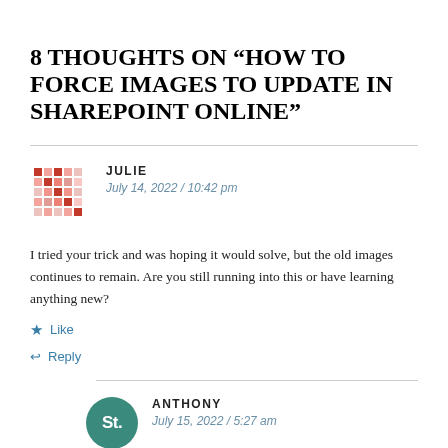8 THOUGHTS ON “HOW TO FORCE IMAGES TO UPDATE IN SHAREPOINT ONLINE”
JULIE
July 14, 2022 / 10:42 pm
I tried your trick and was hoping it would solve, but the old images continues to remain. Are you still running into this or have learning anything new?
★ Like
↩ Reply
ANTHONY
July 15, 2022 / 5:27 am